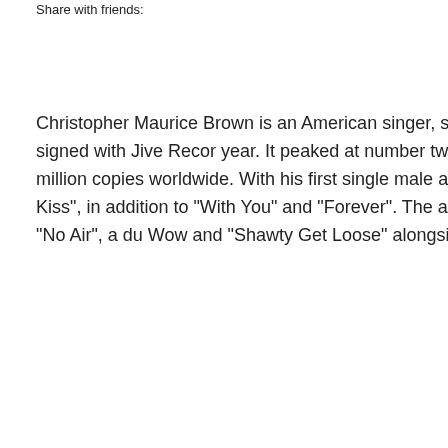Share with friends:
Christopher Maurice Brown is an American singer, songwriter, and actor. Bo several local talent shows from a young age. Having signed with Jive Reco year. It peaked at number two on the US Billboard 200 and was later certifie (RIAA), selling an overall three million copies worldwide. With his first single male artist as a lead since Diddy in 1997 to have his debut single top the ch one "Kiss Kiss", in addition to "With You" and "Forever". The album was als success, Brown has been featured on several singles such as "No Air", a du Wow and "Shawty Get Loose" alongside Lil Mama and T-Pain. The songs h US Billboard Hot 100 respectively.
In 2009, Brown received significant media attention after pleading guilty to f five years of probation and six months of community service. His third albu Can Transform Ya". Brown's fourth album F.A.M.E. became his first to top th "Beautiful People". F.A.M.E. earned Brown his first Grammy Award for Best released in 2012, with X, Royalty and Heartbreak on a Full Moon being rele charts. Brown has sold more than 30 million albums and 75 million singles w
Alongside his work in the music industry, Brown has pursued an acting care and appeared as a guest on the television series The O.C.. Other films Bro and Battle of the Year. Throughout his career, Brown has won several award